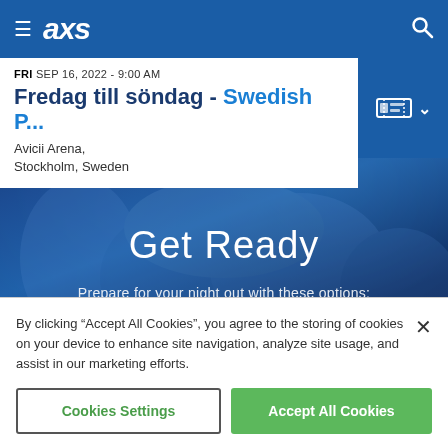≡ axs [search icon]
FRI SEP 16, 2022 - 9:00 AM
Fredag till söndag - Swedish P...
Avicii Arena,
Stockholm, Sweden
[Figure (screenshot): AXS event page hero section with dark blue background and crowd silhouette showing 'Get Ready' headline and 'Prepare for your night out with these options:' subtext]
By clicking "Accept All Cookies", you agree to the storing of cookies on your device to enhance site navigation, analyze site usage, and assist in our marketing efforts.
Cookies Settings
Accept All Cookies